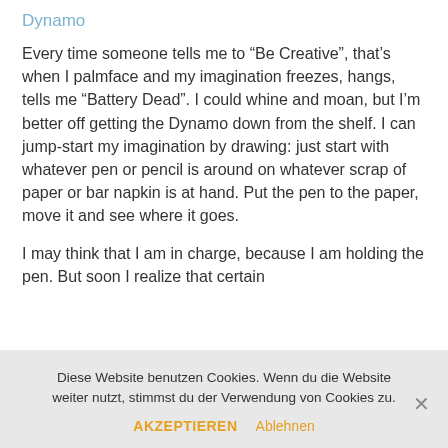Dynamo
Every time someone tells me to “Be Creative”, that’s when I palmface and my imagination freezes, hangs, tells me “Battery Dead”. I could whine and moan, but I’m better off getting the Dynamo down from the shelf. I can jump-start my imagination by drawing: just start with whatever pen or pencil is around on whatever scrap of paper or bar napkin is at hand. Put the pen to the paper, move it and see where it goes.
I may think that I am in charge, because I am holding the pen. But soon I realize that certain
Diese Website benutzen Cookies. Wenn du die Website weiter nutzt, stimmst du der Verwendung von Cookies zu.